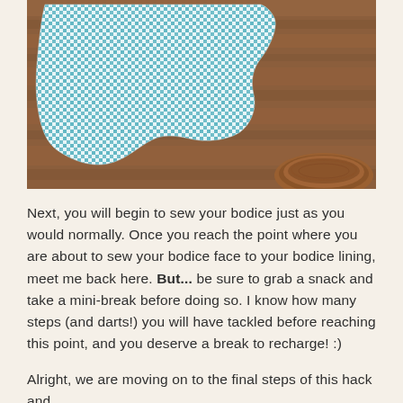[Figure (photo): Photo of blue and white gingham checkered fabric pieces laid out on a warm brown wooden floor, with part of a wooden circular object visible in the bottom right corner.]
Next, you will begin to sew your bodice just as you would normally. Once you reach the point where you are about to sew your bodice face to your bodice lining, meet me back here. But... be sure to grab a snack and take a mini-break before doing so. I know how many steps (and darts!) you will have tackled before reaching this point, and you deserve a break to recharge! :)
Alright, we are moving on to the final steps of this hack and